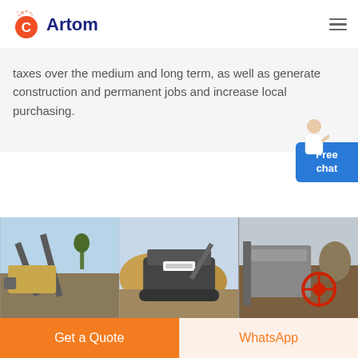[Figure (logo): Artom brand logo with orange C icon and dark blue Artom text]
taxes over the medium and long term, as well as generate construction and permanent jobs and increase local purchasing.
[Figure (photo): Three side-by-side photos of mining/quarrying industrial equipment and machinery at outdoor sites]
Antamina – Teck
Get a Quote
WhatsApp